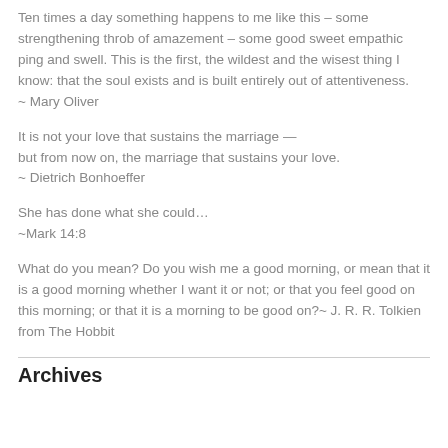Ten times a day something happens to me like this – some strengthening throb of amazement – some good sweet empathic ping and swell. This is the first, the wildest and the wisest thing I know: that the soul exists and is built entirely out of attentiveness.
~ Mary Oliver
It is not your love that sustains the marriage —
but from now on, the marriage that sustains your love.
~ Dietrich Bonhoeffer
She has done what she could…
~Mark 14:8
What do you mean? Do you wish me a good morning, or mean that it is a good morning whether I want it or not; or that you feel good on this morning; or that it is a morning to be good on?~ J. R. R. Tolkien from The Hobbit
Archives